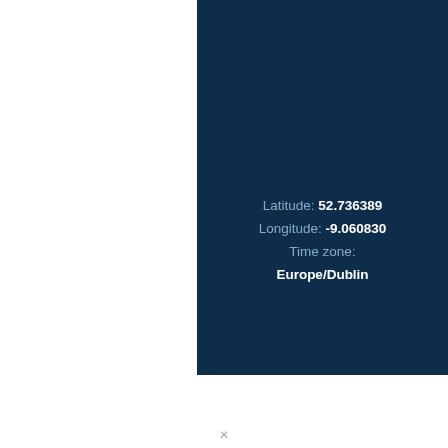[Figure (other): Dark navy blue rectangular panel occupying the right portion of the page, containing geographic coordinate and time zone information.]
Latitude: 52.736389
Longitude: -9.060830
Time zone:
Europe/Dublin